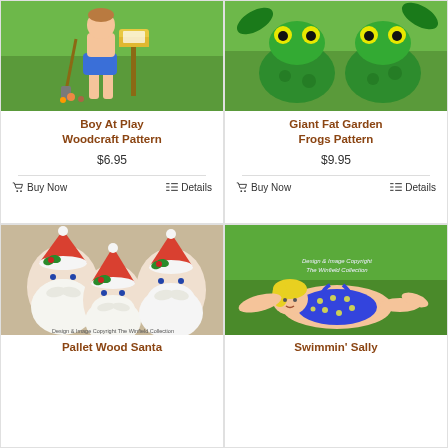[Figure (photo): Boy at play woodcraft pattern product photo showing a boy figure near a mailbox on grass]
Boy At Play Woodcraft Pattern
$6.95
Buy Now   Details
[Figure (photo): Giant Fat Garden Frogs Pattern product photo showing two green and yellow frog figures on grass]
Giant Fat Garden Frogs Pattern
$9.95
Buy Now   Details
[Figure (photo): Pallet Wood Santa product photo showing three Santa face cutouts with red hats and white beards on tan background]
Pallet Wood Santa
[Figure (photo): Swimmin Sally product photo showing a chubby woman figure in blue polka dot swimsuit lying on grass]
Swimmin' Sally